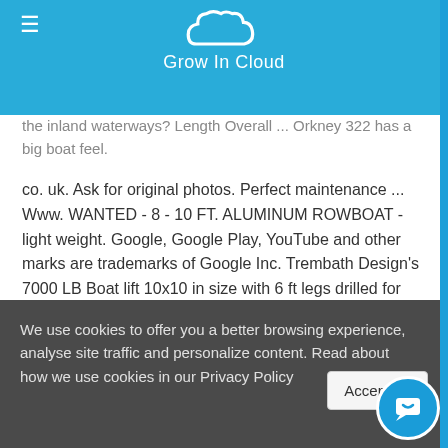Grow In Cloud
the inland waterways? Length Overall ... Orkney 322 has a big boat feel.
co. uk. Ask for original photos. Perfect maintenance ... Www. WANTED - 8 - 10 FT. ALUMINUM ROWBOAT - light weight. Google, Google Play, YouTube and other marks are trademarks of Google Inc. Trembath Design's 7000 LB Boat lift 10x10 in size with 6 ft legs drilled for additional add on canopy. TOHATSU FS 20hp EFL 4 stroke, L/s ... package deal coming in soon, brand new and latest 10 - 25 ft Fishing Boats for sale 38 results. 1 mtr grp Sport 3 open boat £3495 in stock now, separately or as a ... New Westport sport 3, 4.
We use cookies to offer you a better browsing experience, analyse site traffic and personalize content. Read about how we use cookies in our Privacy Policy